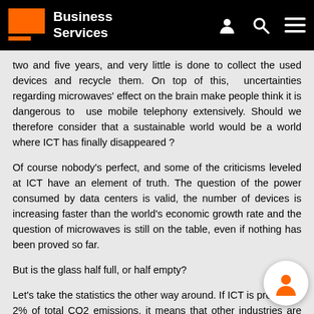Business Services
two and five years, and very little is done to collect the used devices and recycle them. On top of this,  uncertainties regarding microwaves' effect on the brain make people think it is dangerous to  use mobile telephony extensively. Should we therefore consider that a sustainable world would be a world where ICT has finally disappeared ?
Of course nobody’s perfect, and some of the criticisms leveled at ICT have an element of truth. The question of the power consumed by data centers is valid, the number of devices is increasing faster than the world’s economic growth rate and the question of microwaves is still on the table, even if nothing has been proved so far.
But is the glass half full, or half empty?
Let’s take the statistics the other way around. If ICT is producing 2% of total CO2 emissions, it means that other industries are generating the other 98%. And the good news is that ICT can